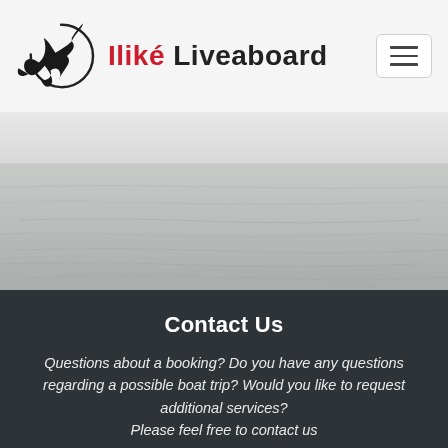[Figure (logo): Iliké Liveaboard logo: a stylized manta ray silhouette inside a circular arc, with the brand name 'Iliké Liveaboard' — 'Iliké' in red, 'Liveaboard' in dark gray.]
[Figure (photo): Wide-angle photograph of a calm ocean surface with gentle ripples, desaturated to near-gray tones. Horizon line visible in the upper third.]
Contact Us
Questions about a booking? Do you have any questions regarding a possible boat trip? Would you like to request additional services?
Please feel free to contact us